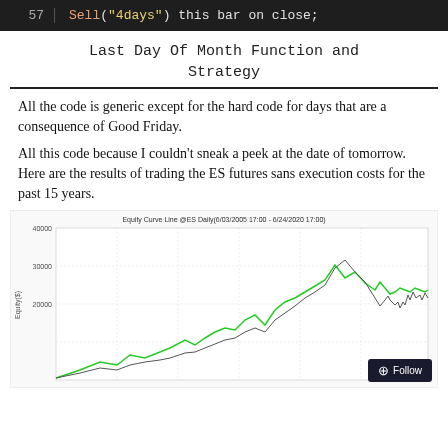57    Sell("4days") this bar on close;
Last Day Of Month Function and Strategy
All the code is generic except for the hard code for days that are a consequence of Good Friday.
All this code because I couldn't sneak a peek at the date of tomorrow.  Here are the results of trading the ES futures sans execution costs for the past 15 years.
[Figure (line-chart): Equity curve showing two lines (green and black/gray) rising from near 0 to approximately 30000-35000 over the period, with green line outperforming before converging.]